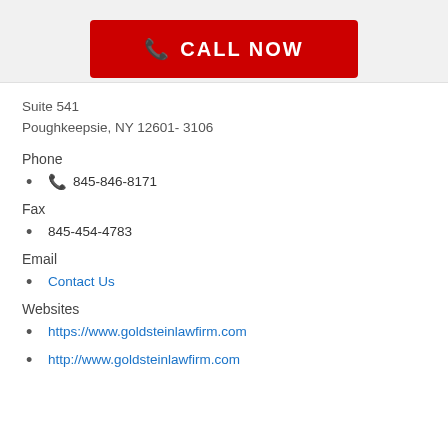CALL NOW
Suite 541
Poughkeepsie, NY 12601- 3106
Phone
845-846-8171
Fax
845-454-4783
Email
Contact Us
Websites
https://www.goldsteinlawfirm.com
http://www.goldsteinlawfirm.com